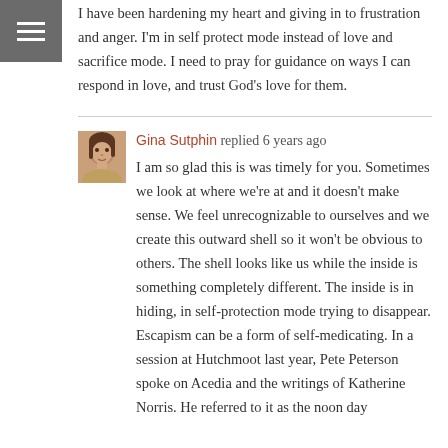[Figure (other): Hamburger menu icon (three horizontal white lines on gray background) in top-left corner]
I have been hardening my heart and giving in to frustration and anger. I'm in self protect mode instead of love and sacrifice mode. I need to pray for guidance on ways I can respond in love, and trust God's love for them.
Gina Sutphin replied 6 years ago
I am so glad this is was timely for you. Sometimes we look at where we're at and it doesn't make sense. We feel unrecognizable to ourselves and we create this outward shell so it won't be obvious to others. The shell looks like us while the inside is something completely different. The inside is in hiding, in self-protection mode trying to disappear. Escapism can be a form of self-medicating. In a session at Hutchmoot last year, Pete Peterson spoke on Acedia and the writings of Katherine Norris. He referred to it as the noon day